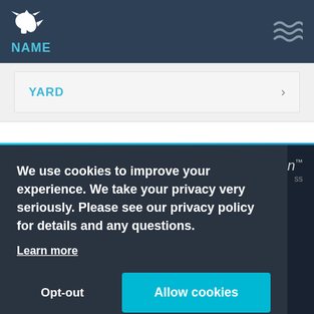NAME
YARD
We use cookies to improve your experience. We take your privacy very seriously. Please see our privacy policy for details and any questions.
Learn more
Opt-out
Allow cookies
info@vesseltracker.com